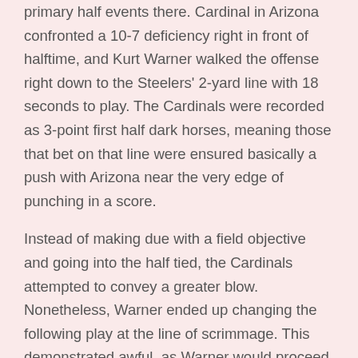primary half events there. Cardinal in Arizona confronted a 10-7 deficiency right in front of halftime, and Kurt Warner walked the offense right down to the Steelers' 2-yard line with 18 seconds to play. The Cardinals were recorded as 3-point first half dark horses, meaning those that bet on that line were ensured basically a push with Arizona near the very edge of punching in a score.
Instead of making due with a field objective and going into the half tied, the Cardinals attempted to convey a greater blow. Nonetheless, Warner ended up changing the following play at the line of scrimmage. This demonstrated awful, as Warner would proceed to toss the ball right to Steelers All-Pro linebacker James Harrison.
Harrison raided his direction down the sum of the field prior to being handled into the end zone by Arizona